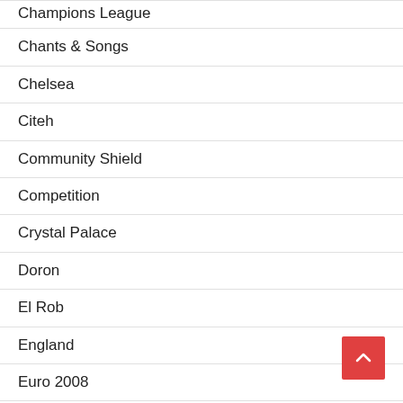Champions League
Chants & Songs
Chelsea
Citeh
Community Shield
Competition
Crystal Palace
Doron
El Rob
England
Euro 2008
Euro 2012
Euro Trips
Europa League